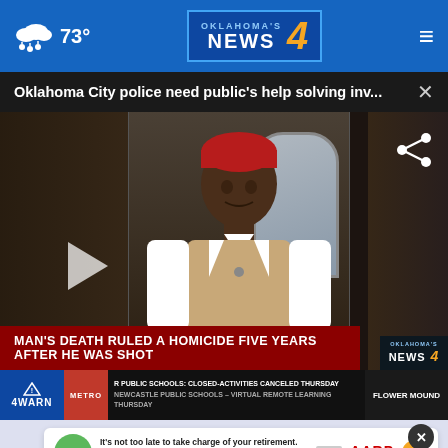73° Oklahoma's News 4
Oklahoma City police need public's help solving inv... ×
[Figure (screenshot): Video thumbnail showing a man wearing a red beanie and tan/white varsity jacket standing in front of a door. Lower third graphic reads: MAN'S DEATH RULED A HOMICIDE FIVE YEARS AFTER HE WAS SHOT. Ticker bar at bottom: 4WARN METRO | PUBLIC SCHOOLS: CLOSED-ACTIVITIES CANCELED THURSDAY | FLOWER MOUND | NEWCASTLE PUBLIC SCHOOLS – VIRTUAL REMOTE LEARNING THURSDAY]
[Figure (photo): AARP advertisement banner: 'It's not too late to take charge of your retirement. Get your top 3 tips →' with Ad Council logo and AARP Real Possibilities branding. Green mascot face on left, coin icon on right.]